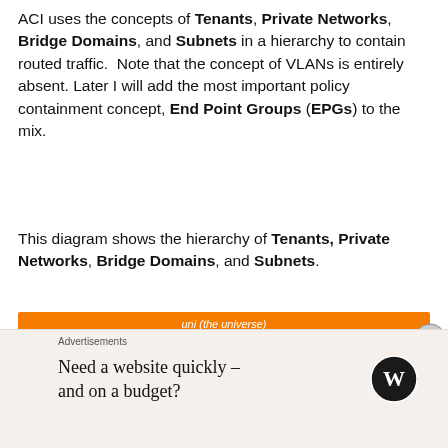ACI uses the concepts of Tenants, Private Networks, Bridge Domains, and Subnets in a hierarchy to contain routed traffic. Note that the concept of VLANs is entirely absent. Later I will add the most important policy containment concept, End Point Groups (EPGs) to the mix.
This diagram shows the hierarchy of Tenants, Private Networks, Bridge Domains, and Subnets.
[Figure (other): Hierarchy diagram showing uni (the universe) containing Tenant: Small and Tenant: Large. Tenant: Small has Private Network: VRF1. Tenant: Large has Private Network: VRF1, Priv Netw: Int-VRF, and Priv Netw: Dev-VRF. Orange outer container, teal tenant boxes, green private network boxes.]
Advertisements
Need a website quickly – and on a budget?